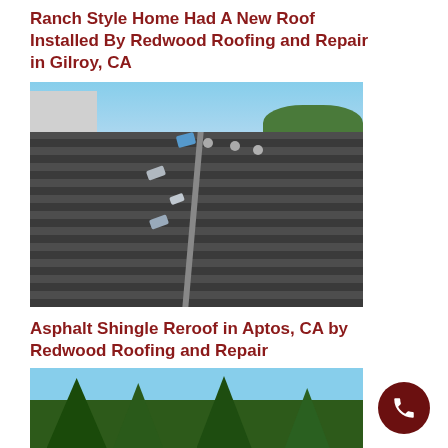Ranch Style Home Had A New Roof Installed By Redwood Roofing and Repair in Gilroy, CA
[Figure (photo): Aerial view of a dark grey asphalt shingle roof being installed on a ranch-style home. Multiple skylights and roof vents visible. Suburban neighborhood visible in background with blue sky.]
Asphalt Shingle Reroof in Aptos, CA by Redwood Roofing and Repair
[Figure (photo): View looking up at tall pine/fir trees against a blue sky, likely showing trees near a home in Aptos, CA.]